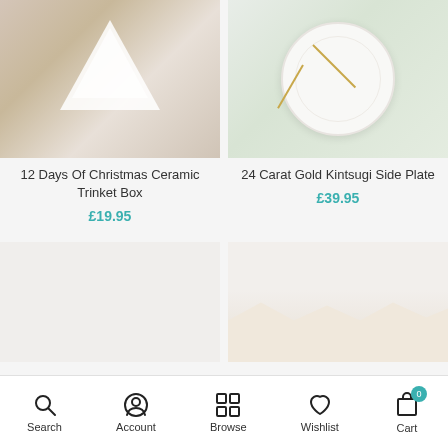[Figure (photo): Photo of 12 Days Of Christmas Ceramic Trinket Box - white tree-shaped ceramic boxes with illustrated icons on brown textured background]
12 Days Of Christmas Ceramic Trinket Box
£19.95
[Figure (photo): Photo of 24 Carat Gold Kintsugi Side Plate - white decorative plate with gold kintsugi repair lines and floral motifs]
24 Carat Gold Kintsugi Side Plate
£39.95
[Figure (photo): Partially visible product image - loading placeholder (light grey/beige)]
[Figure (photo): Partially visible product image - cream/beige wavy textured shape visible at bottom]
Search  Account  Browse  Wishlist  Cart 0